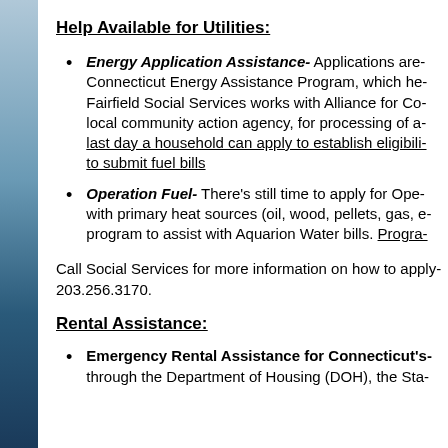Help Available for Utilities:
Energy Application Assistance- Applications are- Connecticut Energy Assistance Program, which he- Fairfield Social Services works with Alliance for Co- local community action agency, for processing of a- last day a household can apply to establish eligibili- to submit fuel bills
Operation Fuel- There's still time to apply for Ope- with primary heat sources (oil, wood, pellets, gas, e- program to assist with Aquarion Water bills. Progra-
Call Social Services for more information on how to apply 203.256.3170.
Rental Assistance:
Emergency Rental Assistance for Connecticut's through the Department of Housing (DOH), the Sta-